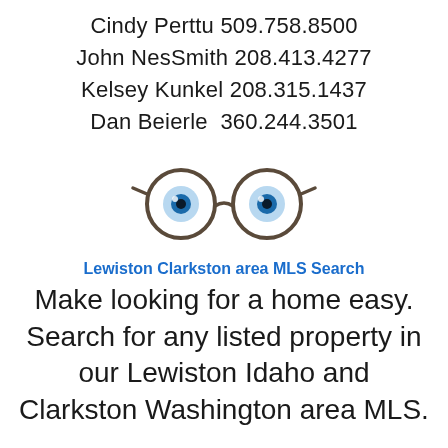Cindy Perttu 509.758.8500
John NesSmith 208.413.4277
Kelsey Kunkel 208.315.1437
Dan Beierle  360.244.3501
[Figure (illustration): Cartoon eyes with round glasses frames]
Lewiston Clarkston area MLS Search
Make looking for a home easy. Search for any listed property in our Lewiston Idaho and Clarkston Washington area MLS.